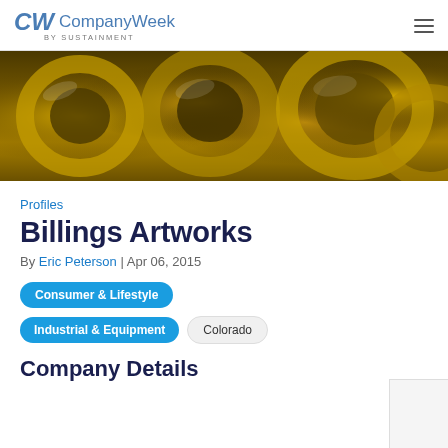CompanyWeek by SUSTAINMENT
[Figure (photo): Close-up photo of golden brass instrument bells/horns]
Profiles
Billings Artworks
By Eric Peterson | Apr 06, 2015
Consumer & Lifestyle
Industrial & Equipment
Colorado
Company Details